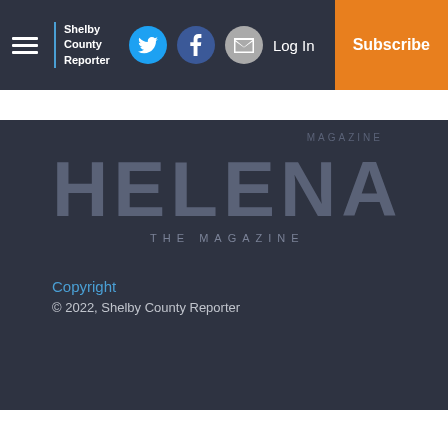Shelby County Reporter — Log In | Subscribe
[Figure (logo): Helena The Magazine logo — large bold grey text 'HELENA' with subtitle 'THE MAGAZINE' below, overlaid with 'MAGAZINE' label in upper right area, all on dark background]
Copyright
© 2022, Shelby County Reporter